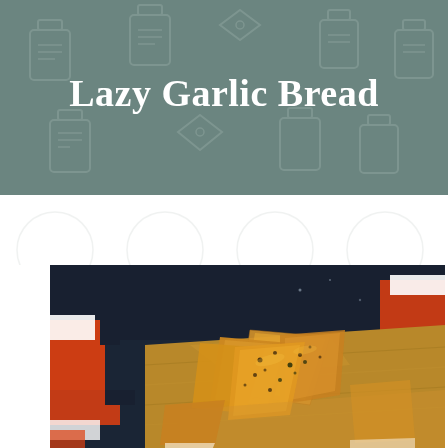Lazy Garlic Bread
[Figure (photo): Photo of garlic bread slices arranged on a wooden cutting board, with herbs and seasoning on top, dark background with orange and white geometric shapes visible]